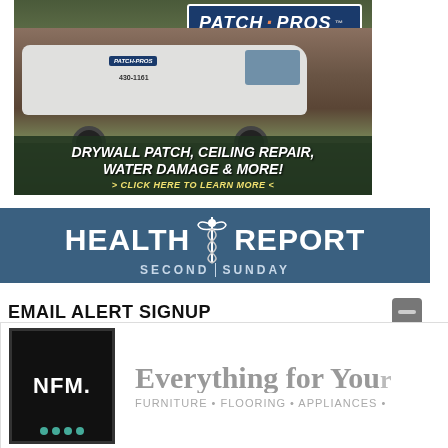[Figure (photo): Patch Pros advertisement showing a white van with the Patch Pros logo parked outdoors. Text reads: DRYWALL PATCH, CEILING REPAIR, WATER DAMAGE & MORE! > CLICK HERE TO LEARN MORE <]
[Figure (logo): Health Report Second Sunday banner with caduceus symbol on steel blue background]
EMAIL ALERT SIGNUP
[Figure (logo): NFM (Nebraska Furniture Mart) advertisement showing logo on black background with tagline: Everything for You — FURNITURE • FLOORING • APPLIANCES •]